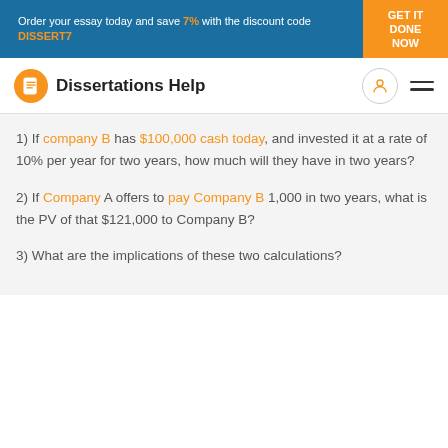Order your essay today and save 7% with the discount code DISSERT7 — GET IT DONE NOW
Dissertations Help
1) If company B has $100,000 cash today, and invested it at a rate of 10% per year for two years, how much will they have in two years?
2) If Company A offers to pay Company B 1,000 in two years, what is the PV of that $121,000 to Company B?
3) What are the implications of these two calculations?